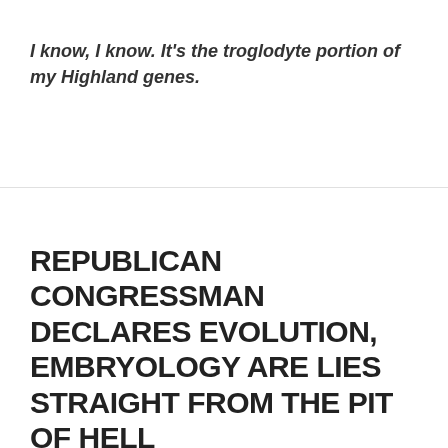I know, I know. It's the troglodyte portion of my Highland genes.
REPUBLICAN CONGRESSMAN DECLARES EVOLUTION, EMBRYOLOGY ARE LIES STRAIGHT FROM THE PIT OF HELL